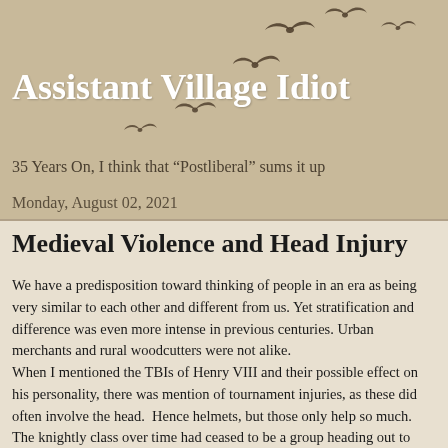Assistant Village Idiot
35 Years On, I think that “Postliberal” sums it up
Monday, August 02, 2021
Medieval Violence and Head Injury
We have a predisposition toward thinking of people in an era as being very similar to each other and different from us. Yet stratification and difference was even more intense in previous centuries. Urban merchants and rural woodcutters were not alike.
When I mentioned the TBIs of Henry VIII and their possible effect on his personality, there was mention of tournament injuries, as these did often involve the head.  Hence helmets, but those only help so much. The knightly class over time had ceased to be a group heading out to dispense